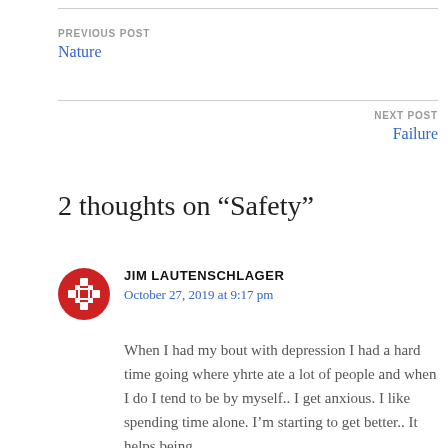PREVIOUS POST
Nature
NEXT POST
Failure
2 thoughts on “Safety”
JIM LAUTENSCHLAGER
October 27, 2019 at 9:17 pm
When I had my bout with depression I had a hard time going where yhrte ate a lot of people and when I do I tend to be by myself.. I get anxious. I like spending time alone. I’m starting to get better.. It helps being